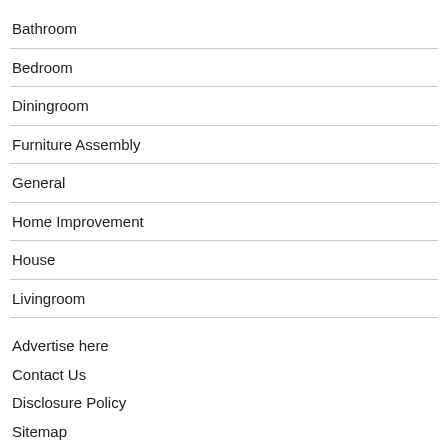Bathroom
Bedroom
Diningroom
Furniture Assembly
General
Home Improvement
House
Livingroom
Advertise here
Contact Us
Disclosure Policy
Sitemap